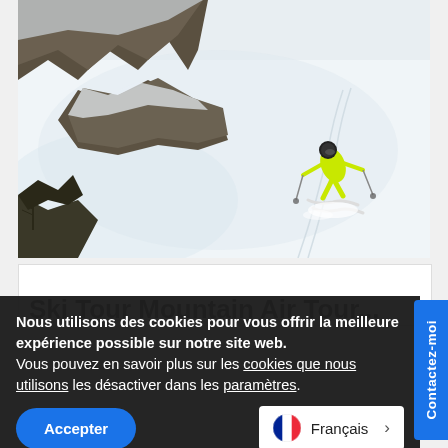[Figure (photo): Aerial view of a skier in bright green/yellow ski suit skiing down a steep snowy mountain slope with rocky outcroppings and trees visible. The skier is captured mid-descent on powder snow.]
Ski Tour Mountain Air Tour (partially visible)
Nous utilisons des cookies pour vous offrir la meilleure expérience possible sur notre site web.
Vous pouvez en savoir plus sur les cookies que nous utilisons les désactiver dans les paramètres.
Accepter
Français
Contactez-moi